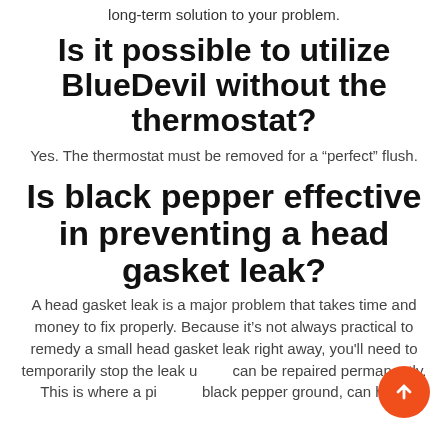long-term solution to your problem.
Is it possible to utilize BlueDevil without the thermostat?
Yes. The thermostat must be removed for a “perfect” flush.
Is black pepper effective in preventing a head gasket leak?
A head gasket leak is a major problem that takes time and money to fix properly. Because it’s not always practical to remedy a small head gasket leak right away, you'll need to temporarily stop the leak until it can be repaired permanently. This is where a pinch of black pepper ground, can help.